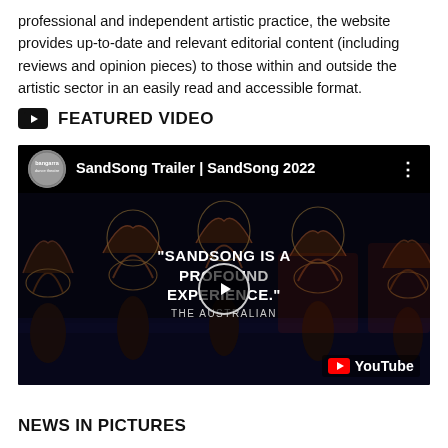professional and independent artistic practice, the website provides up-to-date and relevant editorial content (including reviews and opinion pieces) to those within and outside the artistic sector in an easily read and accessible format.
FEATURED VIDEO
[Figure (screenshot): YouTube embedded video thumbnail showing SandSong Trailer | SandSong 2022 by Bangarra Dance Theatre. The video shows dancers on a dark stage with props. A play button is in the center. Text overlay reads: 'SANDSONG IS A PROFOUND EXPERIENCE.' THE AUSTRALIAN. YouTube logo in bottom right.]
NEWS IN PICTURES